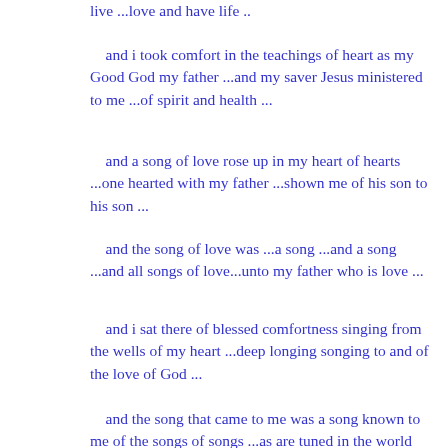live ...love and have life ..
and i took comfort in the teachings of heart as my Good God my father ...and my saver Jesus ministered to me ...of spirit and health ...
and a song of love rose up in my heart of hearts ...one hearted with my father ...shown me of his son to his son ...
and the song of love was ...a song ...and a song ...and all songs of love...unto my father who is love ...
and i sat there of blessed comfortness singing from the wells of my heart ...deep longing songing to and of the love of God ...
and the song that came to me was a song known to me of the songs of songs ...as are tuned in the world ..plainly a song i had heard before.. Yet now... sung unto